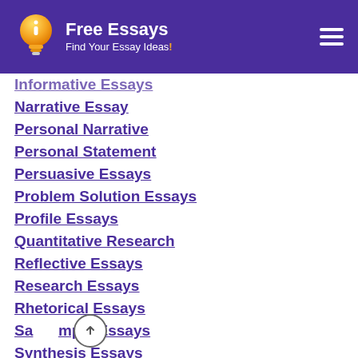[Figure (logo): Light bulb logo with letter i inside, orange/yellow gradient]
Free Essays
Find Your Essay Ideas!
Informative Essays
Narrative Essay
Personal Narrative
Personal Statement
Persuasive Essays
Problem Solution Essays
Profile Essays
Quantitative Research
Reflective Essays
Research Essays
Rhetorical Essays
Sample Essays
Synthesis Essays